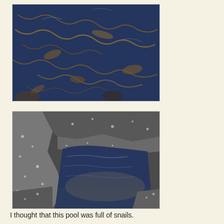[Figure (photo): Aerial or close-up view of water surface with seaweed and plant debris floating, dark blue water with brown kelp/algae scattered across.]
[Figure (photo): Close-up of a tidal rock pool surrounded by barnacle-covered rocks, with shallow water showing sandy/murky bottom and textured rock surfaces.]
I thought that this pool was full of snails.